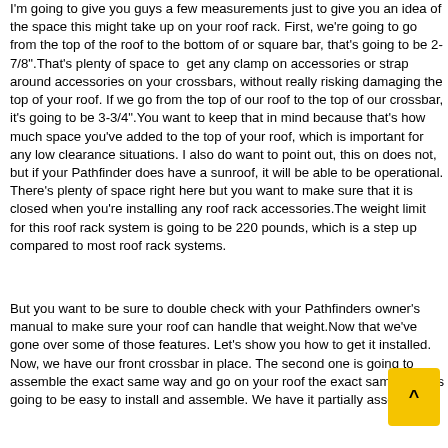I'm going to give you guys a few measurements just to give you an idea of the space this might take up on your roof rack. First, we're going to go from the top of the roof to the bottom of or square bar, that's going to be 2-7/8".That's plenty of space to get any clamp on accessories or strap around accessories on your crossbars, without really risking damaging the top of your roof. If we go from the top of our roof to the top of our crossbar, it's going to be 3-3/4".You want to keep that in mind because that's how much space you've added to the top of your roof, which is important for any low clearance situations. I also do want to point out, this on does not, but if your Pathfinder does have a sunroof, it will be able to be operational. There's plenty of space right here but you want to make sure that it is closed when you're installing any roof rack accessories.The weight limit for this roof rack system is going to be 220 pounds, which is a step up compared to most roof rack systems.
But you want to be sure to double check with your Pathfinders owner's manual to make sure your roof can handle that weight.Now that we've gone over some of those features. Let's show you how to get it installed. Now, we have our front crossbar in place. The second one is going to assemble the exact same way and go on your roof the exact same way.It's going to be easy to install and assemble. We have it partially assemb...